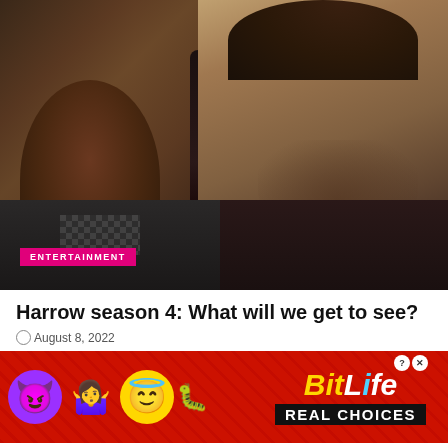[Figure (photo): Two people sitting in a car — a woman with reddish-brown hair on the left (partially visible from the side/back) and a man with curly dark hair, beard and stubble on the right looking serious, in dim car interior lighting. An 'ENTERTAINMENT' pink label badge is overlaid in the bottom-left of the photo.]
Harrow season 4: What will we get to see?
August 8, 2022
[Figure (infographic): Red background ad banner for BitLife game featuring emoji icons (devil face, shrugging woman, angel face, sperm emoji) on the left and the BitLife logo with 'REAL CHOICES' text on the right. Has close (X) and help (?) buttons.]